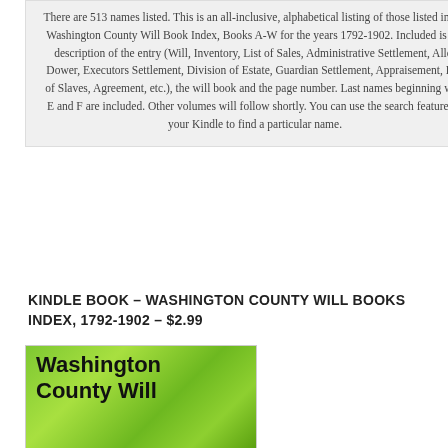There are 513 names listed. This is an all-inclusive, alphabetical listing of those listed in the Washington County Will Book Index, Books A-W for the years 1792-1902. Included is the description of the entry (Will, Inventory, List of Sales, Administrative Settlement, Allot Dower, Executors Settlement, Division of Estate, Guardian Settlement, Appraisement, List of Slaves, Agreement, etc.), the will book and the page number. Last names beginning with E and F are included. Other volumes will follow shortly. You can use the search feature on your Kindle to find a particular name.
KINDLE BOOK – WASHINGTON COUNTY WILL BOOKS INDEX, 1792-1902 – $2.99
[Figure (illustration): Book cover showing green background with text 'Washington County Will' in large bold black font]